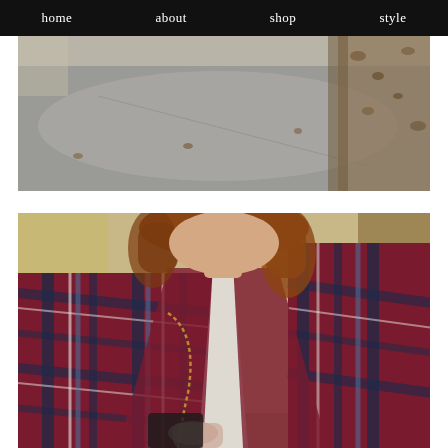home  about  shop  style
[Figure (photo): Outdoor sidewalk scene with fallen leaves and pavement, autumn setting]
[Figure (photo): Close-up of a woman wearing a burgundy and navy plaid oversized blazer/coat over a white sweater, with a delicate necklace, holding a black chain-strap bag, outdoors with trees and cars in background]